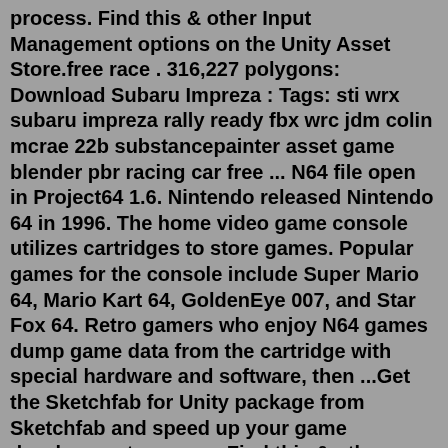process. Find this & other Input Management options on the Unity Asset Store.free race . 316,227 polygons: Download Subaru Impreza : Tags: sti wrx subaru impreza rally ready fbx wrc jdm colin mcrae 22b substancepainter asset game blender pbr racing car free ... N64 file open in Project64 1.6. Nintendo released Nintendo 64 in 1996. The home video game console utilizes cartridges to store games. Popular games for the console include Super Mario 64, Mario Kart 64, GoldenEye 007, and Star Fox 64. Retro gamers who enjoy N64 games dump game data from the cartridge with special hardware and software, then ...Get the Sketchfab for Unity package from Sketchfab and speed up your game development process. Find this & other Input Management options on the Unity Asset Store.free race . 316,227 polygons: Download Subaru Impreza : Tags: sti wrx subaru impreza rally ready fbx wrc jdm colin mcrae 22b substancepainter asset game blender pbr racing car free ... Deluxe Paint ILBM/LBM Viewer; N64 ROM Hacks; Nintendo Hardware; Random; Vi...